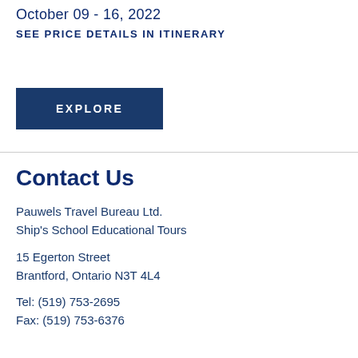October 09 - 16, 2022
SEE PRICE DETAILS IN ITINERARY
EXPLORE
Contact Us
Pauwels Travel Bureau Ltd.
Ship's School Educational Tours
15 Egerton Street
Brantford, Ontario N3T 4L4
Tel: (519) 753-2695
Fax: (519) 753-6376